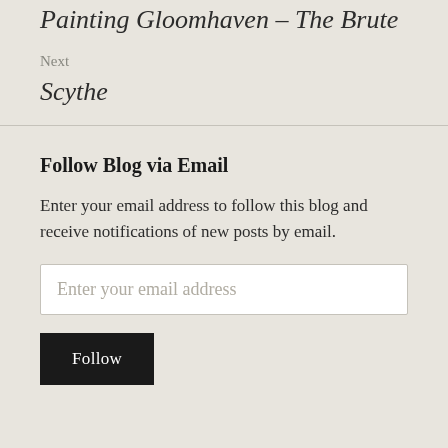Painting Gloomhaven – The Brute
Next
Scythe
Follow Blog via Email
Enter your email address to follow this blog and receive notifications of new posts by email.
Enter your email address
Follow